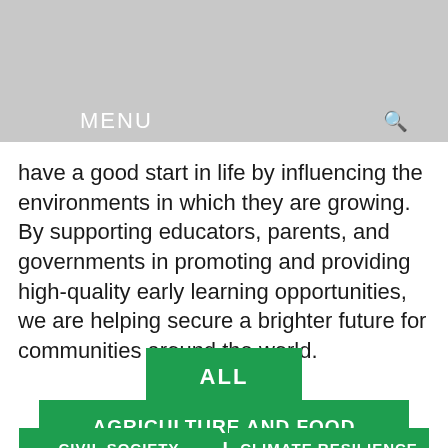MENU
have a good start in life by influencing the environments in which they are growing. By supporting educators, parents, and governments in promoting and providing high-quality early learning opportunities, we are helping secure a brighter future for communities around the world.
ALL
AGRICULTURE AND FOOD SECURITY
CIVIL SOCIETY
CLIMATE RESILIENCE